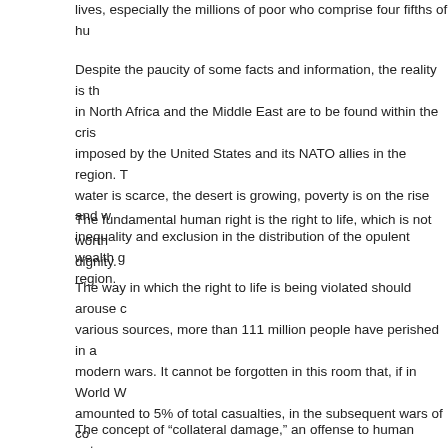lives, especially the millions of poor who comprise four fifths of hu
Despite the paucity of some facts and information, the reality is th in North Africa and the Middle East are to be found within the cris imposed by the United States and its NATO allies in the region. T water is scarce, the desert is growing, poverty is on the rise and w inequality and exclusion in the distribution of the opulent wealth g region.
The fundamental human right is the right to life, which is not worth dignity.
The way in which the right to life is being violated should arouse c various sources, more than 111 million people have perished in a modern wars. It cannot be forgotten in this room that, if in World W amounted to 5% of total casualties, in the subsequent wars of co in Iraq, with more than one million, and Afghanistan with more tha innocents stand at 90%. The proportion of children in these figure unprecedented.
The concept of “collateral damage,” an offense to human nature,